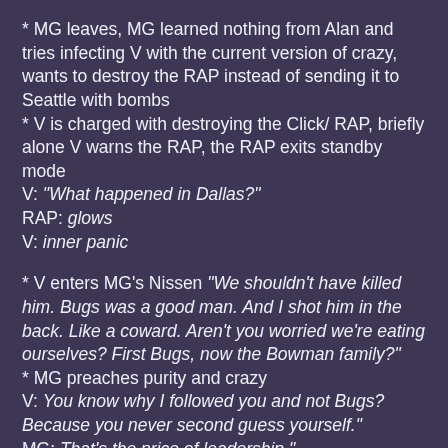* MG leaves, MG learned nothing from Alan and tries infecting V with the current version of crazy, wants to destroy the RAP instead of sending it to Seattle with bombs
* V is charged with destroying the Click/ RAP, briefly alone V warns the RAP, the RAP exits standby mode
V: "What happened in Dallas?"
RAP: glows
V: inner panic
* V enters MG's Nissen "We shouldn't have killed him. Bugs was a good man. And I shot him in the back. Like a coward. Aren't you worried we're eating ourselves? First Bugs, now the Bowman family?"
* MG preaches purity and crazy
V: You know why I followed you and not Bugs? Because you never second guess yourself."
MG: That's the price of leadership."
* MG's a-ok with war crimes and other dishonourables, MG